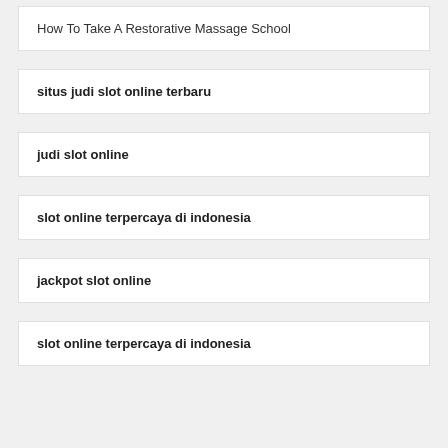How To Take A Restorative Massage School
situs judi slot online terbaru
judi slot online
slot online terpercaya di indonesia
jackpot slot online
slot online terpercaya di indonesia